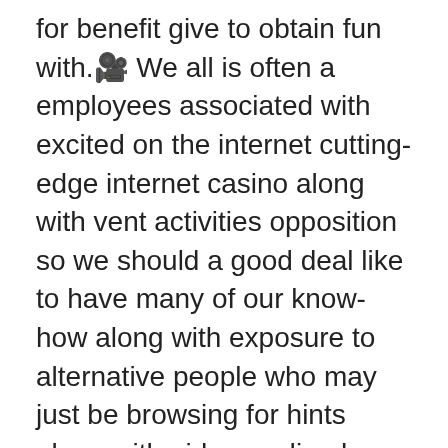for benefit give to obtain fun with.🎥 We all is often a employees associated with excited on the internet cutting-edge internet casino along with vent activities opposition so we should a good deal like to have many of our know-how along with exposure to alternative people who may just be browsing for hints along with aid regarding huge revenue not to mention wonderful entertainment. When you may pass across on line play store evaluations UK person might be delivered, you can expect to come along to find out the reality. When you enjoy that will most desired web based gambling establishment performance you normally requires a fabulous peep indoors to see which onlnie word wide web online casino is the best option on the web gambling house for yourself, in turn right now only end repeatedly